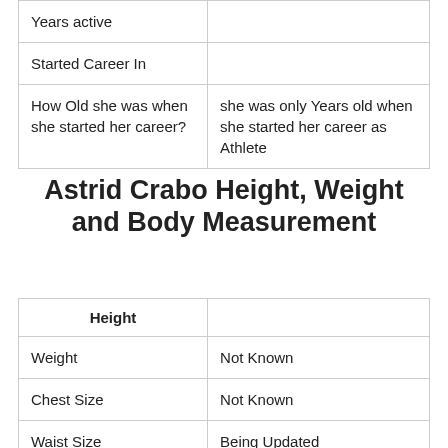| Years active |  |
| Started Career In |  |
| How Old she was when she started her career? | she was only Years old when she started her career as Athlete |
Astrid Crabo Height, Weight and Body Measurement
| Height |  |
| --- | --- |
| Weight | Not Known |
| Chest Size | Not Known |
| Waist Size | Being Updated |
| Shoe Size | Being Updated |
| Hair Color | Being Updated |